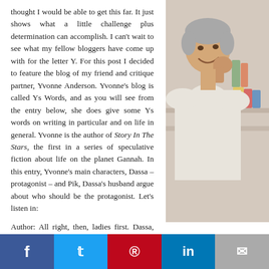thought I would be able to get this far. It just shows what a little challenge plus determination can accomplish. I can't wait to see what my fellow bloggers have come up with for the letter Y. For this post I decided to feature the blog of my friend and critique partner, Yvonne Anderson. Yvonne's blog is called Ys Words, and as you will see from the entry below, she does give some Ys words on writing in particular and on life in general. Yvonne is the author of Story In The Stars, the first in a series of speculative fiction about life on the planet Gannah. In this entry, Yvonne's main characters, Dassa – protagonist – and Pik, Dassa's husband argue about who should be the protagonist. Let's listen in:
[Figure (photo): Photo of an older woman with short gray hair, smiling and resting her cheek on her hand, with colorful items visible in the background.]
Author: All right, then, ladies first. Dassa, why do you believe the term protagonist applies to you?
Dassa: Since the book opens with a scene in my point of view, it stands to re is the one upon whom the whole book hinges. Isn't that some sort of a writir protagonist is introduced first?
f  t  ®  in  ✉